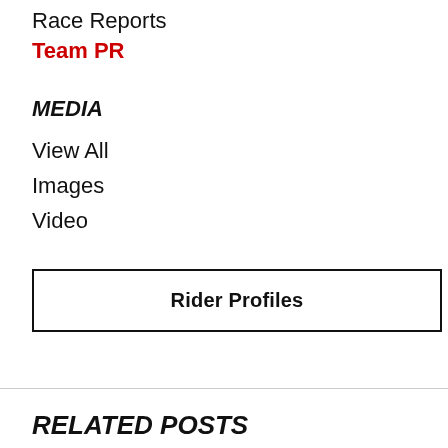Race Reports
Team PR
MEDIA
View All
Images
Video
Rider Profiles
RELATED POSTS